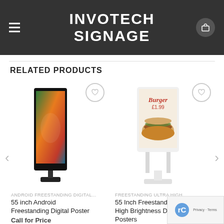INVOTECH SIGNAGE
RELATED PRODUCTS
[Figure (screenshot): Product card: 55 inch Android Freestanding Digital Poster with black digital signage unit showing colorful display]
ANDROID FREESTANDING DIGITAL...
55 inch Android Freestanding Digital Poster
Call for Price
[Figure (screenshot): Product card: 55 Inch Freestanding High Brightness Digital Posters, white signage unit showing burger advertisement at £1.99]
FREESTANDING ULTRA HIGH
55 Inch Freestanding High Brightness Digital Posters
Call for Price